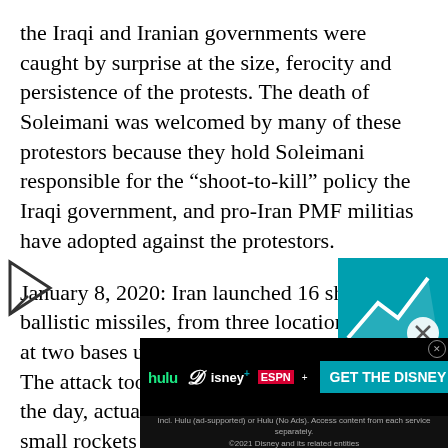the Iraqi and Iranian governments were caught by surprise at the size, ferocity and persistence of the protests. The death of Soleimani was welcomed by many of these protestors because they hold Soleimani responsible for the “shoot-to-kill” policy the Iraqi government, and pro-Iran PMF militias have adopted against the protestors.
January 8, 2020: Iran launched 16 short-range ballistic missiles, from three locations in Iran, at two bases used by American troops in Iraq. The attack took place before dawn. Later in the day, actually, after midnight, two more small rockets were fired into the Green Zone, the well-protected area where foreign embassies and key government offices are located. One rocket landed about a hundred meters from the American embassy and the embassy was apparently not damaged. The rockets were fired and ...
[Figure (screenshot): Advertisement banner for Hulu, Disney+ and ESPN+ bundle with teal call-to-action button reading 'GET THE DISNEY BUNDLE']